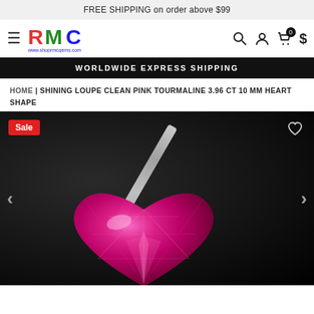FREE SHIPPING on order above $99
[Figure (logo): RMC colorful logo with www.shoprmcgems.com text]
WORLDWIDE EXPRESS SHIPPING
HOME | SHINING LOUPE CLEAN PINK TOURMALINE 3.96 CT 10 MM HEART SHAPE
[Figure (photo): Close-up photo of a heart-shaped pink tourmaline gemstone held by tweezers against dark background. Sale badge in top-left corner.]